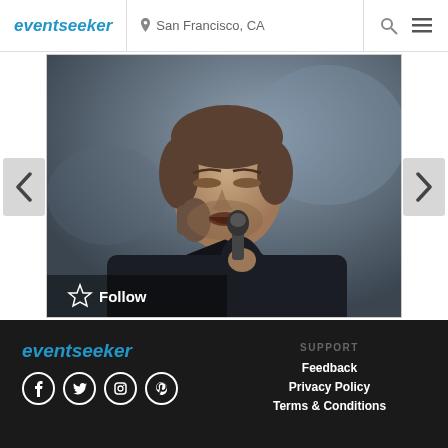eventseeker — San Francisco, CA
[Figure (photo): A male singer performing with a microphone, wearing a dark jacket, eyes closed. A 'Follow' button with star icon overlaid at bottom left of image. Left and right navigation arrows on either side.]
eventseeker — Social icons: Facebook, Twitter, Instagram, Pinterest — SUPPORT: Feedback, Privacy Policy, Terms & Conditions